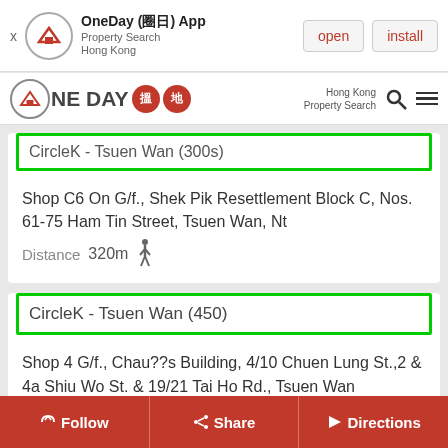[Figure (screenshot): App install banner for OneDay (圈日) App - Property Search Hong Kong, with open and install buttons]
[Figure (logo): OneDay 搵地 logo with Hong Kong Property Search navigation bar]
CircleK - Tsuen Wan (300s) (partially visible)
Shop C6 On G/f., Shek Pik Resettlement Block C, Nos. 61-75 Ham Tin Street, Tsuen Wan, Nt
Distance 320m
CircleK - Tsuen Wan (450)
Shop 4 G/f., Chau??s Building, 4/10 Chuen Lung St.,2 & 4a Shiu Wo St. & 19/21 Tai Ho Rd., Tsuen Wan
Distance 440m
Follow  Share  Directions